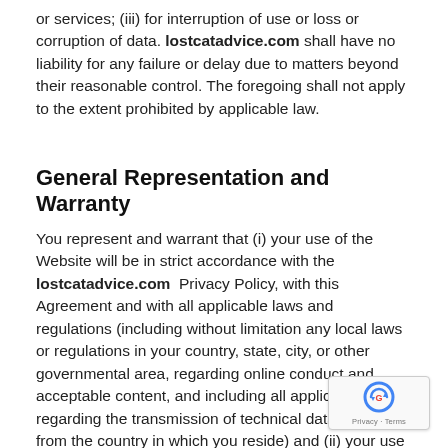or services; (iii) for interruption of use or loss or corruption of data. lostcatadvice.com shall have no liability for any failure or delay due to matters beyond their reasonable control. The foregoing shall not apply to the extent prohibited by applicable law.
General Representation and Warranty
You represent and warrant that (i) your use of the Website will be in strict accordance with the lostcatadvice.com Privacy Policy, with this Agreement and with all applicable laws and regulations (including without limitation any local laws or regulations in your country, state, city, or other governmental area, regarding online conduct and acceptable content, and including all applicable laws regarding the transmission of technical data exported from the country in which you reside) and (ii) your use of the Website will not infringe or misappropriate the intellectual property rights of any third party.